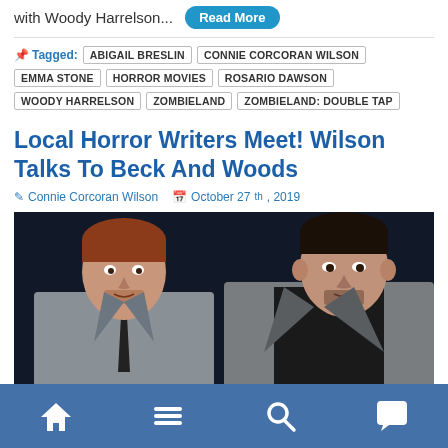with Woody Harrelson... Read More
Tagged: ABIGAIL BRESLIN | CONNIE CORCORAN WILSON | EMMA STONE | HORROR MOVIES | ROSARIO DAWSON | WOODY HARRELSON | ZOMBIELAND | ZOMBIELAND: DOUBLE TAP
Local Horror Writers Meet! Wilson Talks To Beck And Woods
Connie Corcoran Wilson   October 27th, 2019
[Figure (photo): Two men in suits standing on stage, one with reddish-brown hair on the left wearing a grey suit and dark tie, one with dark hair on the right wearing a grey blazer and black shirt, against a dark blue stage background.]
Navigation bar with home, menu, search, and comment icons